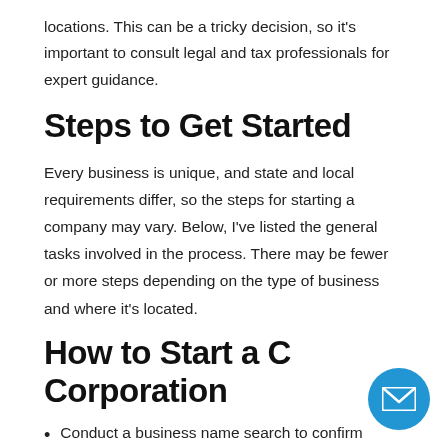locations. This can be a tricky decision, so it's important to consult legal and tax professionals for expert guidance.
Steps to Get Started
Every business is unique, and state and local requirements differ, so the steps for starting a company may vary. Below, I've listed the general tasks involved in the process. There may be fewer or more steps depending on the type of business and where it's located.
How to Start a C Corporation
Conduct a business name search to confirm